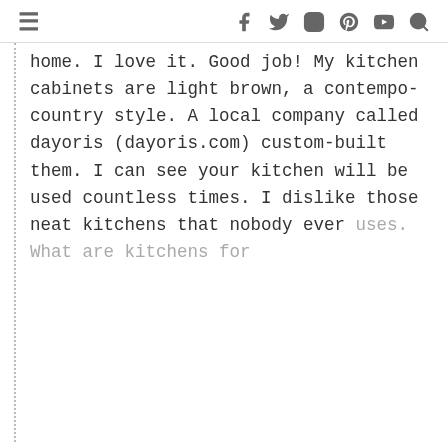≡  f  Twitter  Instagram  Pinterest  YouTube  Search
home. I love it. Good job! My kitchen cabinets are light brown, a contempo-country style. A local company called dayoris (dayoris.com) custom-built them. I can see your kitchen will be used countless times. I dislike those neat kitchens that nobody ever uses. What are kitchens for anyway?